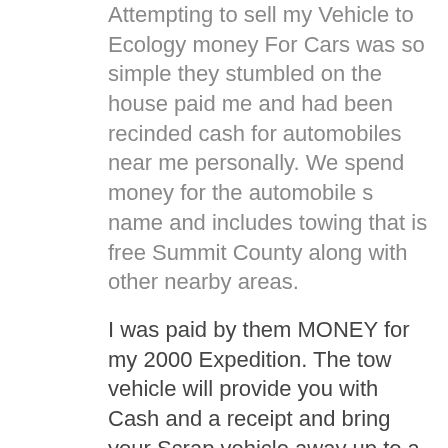Attempting to sell my Vehicle to Ecology money For Cars was so simple they stumbled on the house paid me and had been recinded cash for automobiles near me personally. We spend money for the automobile s name and includes towing that is free Summit County along with other nearby areas.
I was paid by them MONEY for my 2000 Expedition. The tow vehicle will provide you with Cash and a receipt and bring your Scrap vehicle away up to a junkyard nearby to MA. Damaged CarsWe focus on the purchase of wrecked and damaged automobiles. In as low as 24 48 hours you can get just as much as 500 or even more for the junk that is old automobile. com will allow you to obtain the most value that is salvage your junk vehicle. We make it simple select up at no cost and